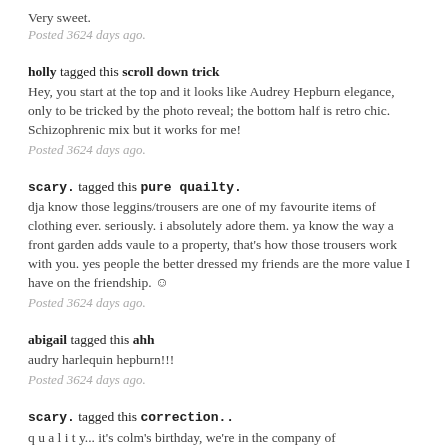Very sweet.
Posted 3624 days ago.
holly tagged this scroll down trick
Hey, you start at the top and it looks like Audrey Hepburn elegance, only to be tricked by the photo reveal; the bottom half is retro chic. Schizophrenic mix but it works for me!
Posted 3624 days ago.
scary. tagged this pure quailty.
dja know those leggins/trousers are one of my favourite items of clothing ever. seriously. i absolutely adore them. ya know the way a front garden adds vaule to a property, that's how those trousers work with you. yes people the better dressed my friends are the more value I have on the friendship. ☺
Posted 3624 days ago.
abigail tagged this ahh
audry harlequin hepburn!!!
Posted 3624 days ago.
scary. tagged this correction..
q u a l i t y... it's colm's birthday, we're in the company of